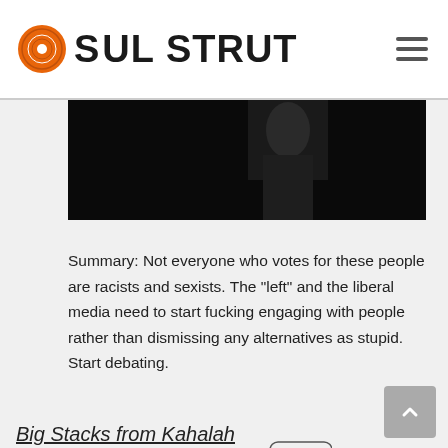[Figure (logo): Soul Strut logo with orange vinyl record icon and bold black text reading SOUL STRUT]
[Figure (photo): Partially visible photo strip with dark background and a figure, mostly black]
Summary: Not everyone who votes for these people are racists and sexists. The "left" and the liberal media need to start fucking engaging with people rather than dismissing any alternatives as stupid. Start debating.
[Figure (illustration): Red squiggly cosine wave with a tooltip bubble labeled COSINE in green monospace text on a rounded rectangle]
Peace,
Big Stacks from Kahalah